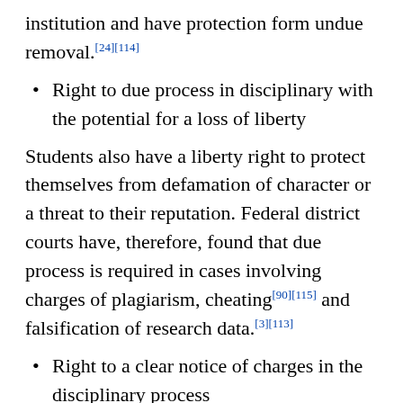institution and have protection form undue removal.[24][114]
Right to due process in disciplinary with the potential for a loss of liberty
Students also have a liberty right to protect themselves from defamation of character or a threat to their reputation. Federal district courts have, therefore, found that due process is required in cases involving charges of plagiarism, cheating[90][115] and falsification of research data.[3][113]
Right to a clear notice of charges in the disciplinary process
In disciplinary measures students are entitled to the provision of a definite charge. [11][90][116][117]